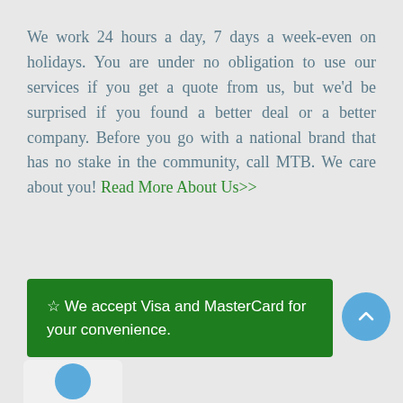We work 24 hours a day, 7 days a week-even on holidays. You are under no obligation to use our services if you get a quote from us, but we'd be surprised if you found a better deal or a better company. Before you go with a national brand that has no stake in the community, call MTB. We care about you! Read More About Us>>
☆ We accept Visa and MasterCard for your convenience.